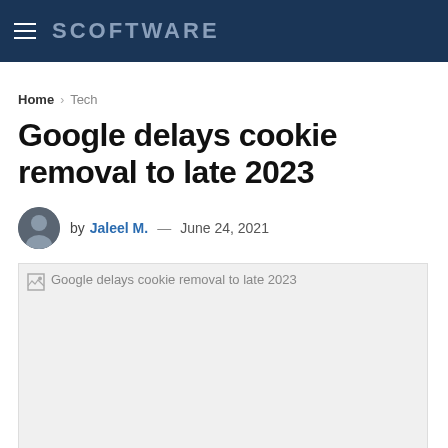SCOFTWARE
Home > Tech
Google delays cookie removal to late 2023
by Jaleel M. — June 24, 2021
[Figure (photo): Broken image placeholder with alt text: Google delays cookie removal to late 2023]